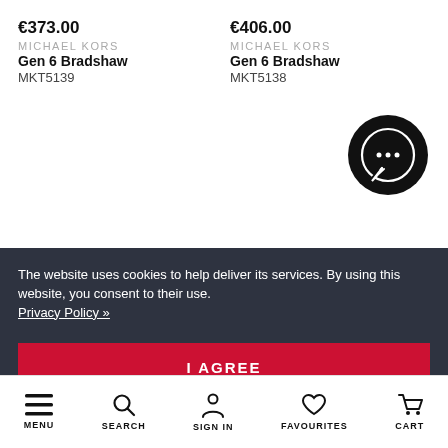€373.00
MICHAEL KORS
Gen 6 Bradshaw
MKT5139
€406.00
MICHAEL KORS
Gen 6 Bradshaw
MKT5138
[Figure (illustration): Black circular chat bubble icon with three dots]
The website uses cookies to help deliver its services. By using this website, you consent to their use.
Privacy Policy »
I AGREE
MENU  SEARCH  SIGN IN  FAVOURITES  CART